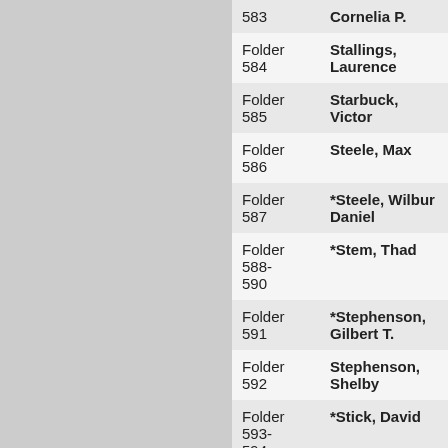| Folder | Name |
| --- | --- |
| 583 | Cornelia P. |
| Folder 584 | Stallings, Laurence |
| Folder 585 | Starbuck, Victor |
| Folder 586 | Steele, Max |
| Folder 587 | *Steele, Wilbur Daniel |
| Folder 588-590 | *Stem, Thad |
| Folder 591 | *Stephenson, Gilbert T. |
| Folder 592 | Stephenson, Shelby |
| Folder 593-594 | *Stick, David |